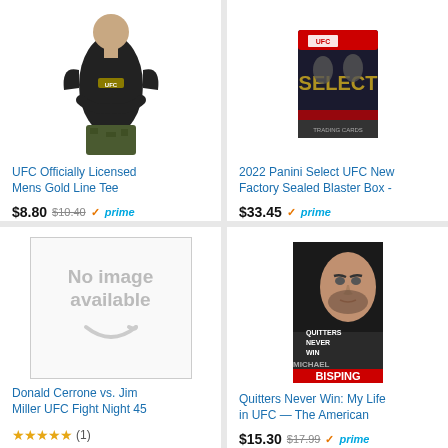[Figure (photo): Man wearing black UFC t-shirt]
UFC Officially Licensed Mens Gold Line Tee
$8.80 $10.40 prime ★★★★☆ (53)
[Figure (photo): 2022 Panini Select UFC trading card blaster box]
2022 Panini Select UFC New Factory Sealed Blaster Box -
$33.45 prime ★★★★☆ (3)
[Figure (photo): No image available placeholder with Amazon smile logo]
Donald Cerrone vs. Jim Miller UFC Fight Night 45
★★★★★ (1)
[Figure (photo): Book cover: Quitters Never Win by Michael Bisping]
Quitters Never Win: My Life in UFC — The American
$15.30 $17.99 prime